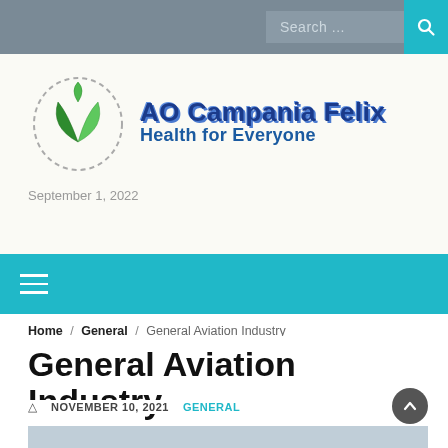Search ...
[Figure (logo): AO Campania Felix Health for Everyone logo with green leaf icon and dashed border]
September 1, 2022
Home / General / General Aviation Industry
General Aviation Industry
NOVEMBER 10, 2021   GENERAL
[Figure (photo): Partial photo of an aircraft or aviation scene]